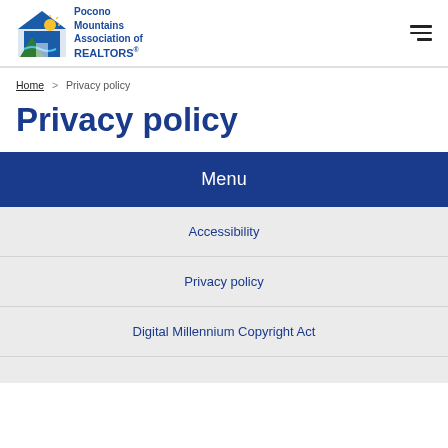[Figure (logo): Pocono Mountains Association of REALTORS logo with house/mountain/sun graphic in blue, green and yellow]
Home > Privacy policy
Privacy policy
Menu
Accessibility
Privacy policy
Digital Millennium Copyright Act